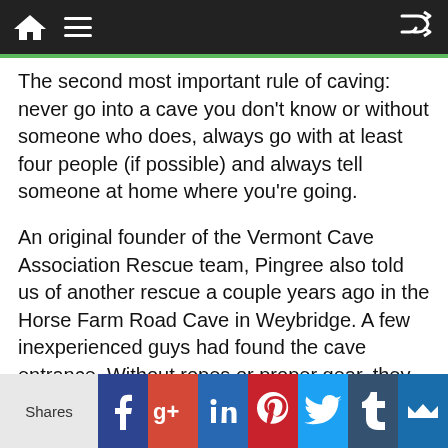Navigation bar with home, menu, and shuffle icons
The second most important rule of caving: never go into a cave you don't know or without someone who does, always go with at least four people (if possible) and always tell someone at home where you're going.
An original founder of the Vermont Cave Association Rescue team, Pingree also told us of another rescue a couple years ago in the Horse Farm Road Cave in Weybridge. A few inexperienced guys had found the cave entrance. Without ropes or proper gear, they attempted to downclimb the first 40 feet and one of the men slipped, falling a good distance to the floor of the pit and injured his leg. When the rescue team reached the man, they realized they would have to put him in a stretcher to haul him out, but the slit in the cave wasn't
Shares | Facebook | Google+ | LinkedIn | Pinterest | Twitter | Tumblr | More